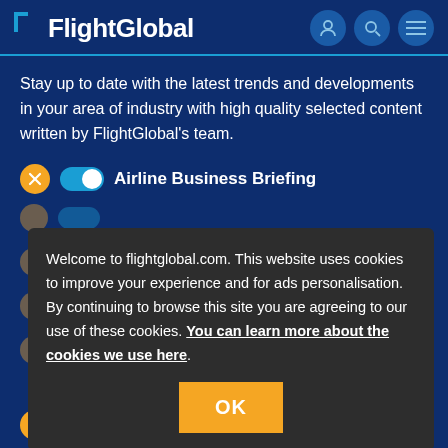FlightGlobal
Stay up to date with the latest trends and developments in your area of industry with high quality selected content written by FlightGlobal’s team.
Airline Business Briefing
Welcome to flightglobal.com. This website uses cookies to improve your experience and for ads personalisation. By continuing to browse this site you are agreeing to our use of these cookies. You can learn more about the cookies we use here.
Events Focus